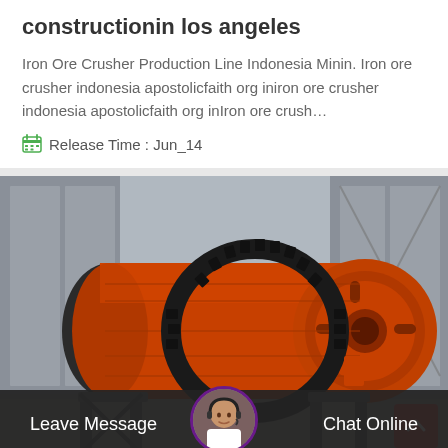constructionin los angeles
Iron Ore Crusher Production Line Indonesia Minin. Iron ore crusher indonesia apostolicfaith org iniron ore crusher indonesia apostolicfaith org inIron ore crush…
Release Time : Jun_14
[Figure (photo): Large orange industrial ball mill machine in a factory/industrial setting, with black gear ring around the drum, metal supports visible, industrial building structure in background.]
Leave Message
Chat Online